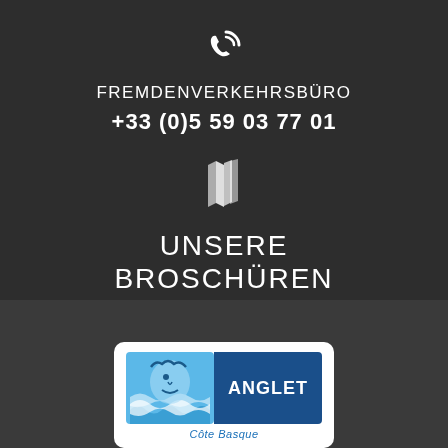[Figure (illustration): White phone handset icon on dark background]
FREMDENVERKEHRSBÜRO
+33 (0)5 59 03 77 01
[Figure (illustration): White open book/brochures icon on dark background]
UNSERE BROSCHÜREN
[Figure (logo): Anglet Côte Basque tourism logo - blue sun/face design with ANGLET text and Côte Basque subtitle]